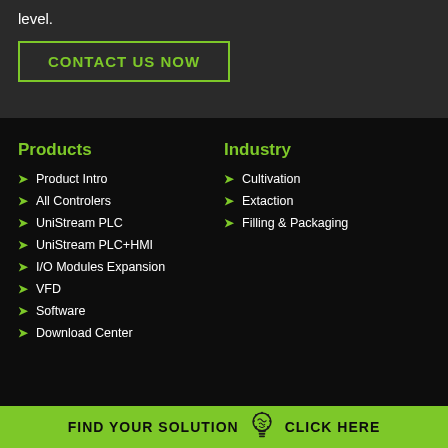level.
CONTACT US NOW
Products
Industry
Product Intro
All Controlers
UniStream PLC
UniStream PLC+HMI
I/O Modules Expansion
VFD
Software
Download Center
Cultivation
Extaction
Filling & Packaging
FIND YOUR SOLUTION   CLICK HERE